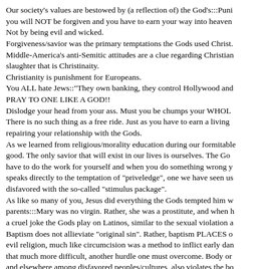Our society's values are bestowed by (a reflection of) the God's:::Puni you will NOT be forgiven and you have to earn your way into heaven Not by being evil and wicked. Forgiveness/savior was the primary temptations the Gods used Christ. Middle-America's anti-Semitic attitudes are a clue regarding Christian slaughter that is Christinaity. Christianity is punishment for Europeans. You ALL hate Jews::"They own banking, they control Hollywood and PRAY TO ONE LIKE A GOD!! Dislodge your head from your ass. Must you be chumps your WHOL There is no such thing as a free ride. Just as you have to earn a living repairing your relationship with the Gods. As we learned from religious/morality education during our formitable good. The only savior that will exist in our lives is ourselves. The Go have to do the work for yourself and when you do something wrong y speaks directly to the temptation of "priveledge", one we have seen us disfavored with the so-called "stimulus package". As like so many of you, Jesus did everything the Gods tempted him w parents:::Mary was no virgin. Rather, she was a prostitute, and when a cruel joke the Gods play on Latinos, similar to the sexual violation a Baptism does not allieviate "original sin". Rather, baptism PLACES o evil religion, much like circumcision was a method to inflict early dan that much more difficult, another hurdle one must overcome. Body or and elsewhere among disfavored peoples/cultures, also violates the bo the positive attitudes the disfavored hold regarding this practice. Like Jesus the Second Coming of Christ will be evil. He will look like Christ will speak of a different gospel, one that tries to restore the nor